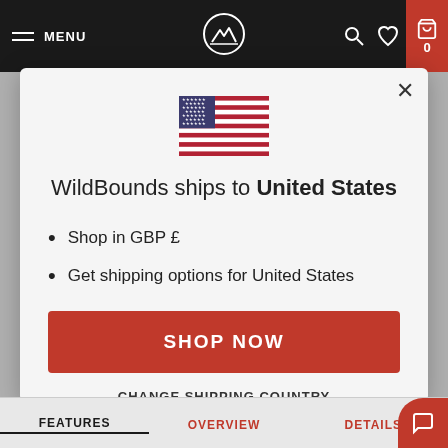MENU
[Figure (illustration): US flag emoji in modal]
WildBounds ships to United States
Shop in GBP £
Get shipping options for United States
SHOP NOW
CHANGE SHIPPING COUNTRY
FEATURES  OVERVIEW  DETAILS